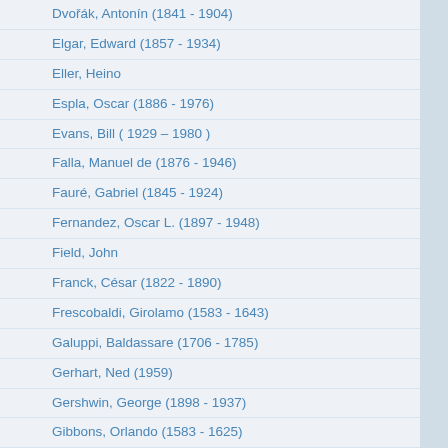Dvořák, Antonín (1841 - 1904)
Elgar, Edward (1857 - 1934)
Eller, Heino
Espla, Oscar (1886 - 1976)
Evans, Bill ( 1929 – 1980 )
Falla, Manuel de (1876 - 1946)
Fauré, Gabriel (1845 - 1924)
Fernandez, Oscar L. (1897 - 1948)
Field, John
Franck, César (1822 - 1890)
Frescobaldi, Girolamo (1583 - 1643)
Galuppi, Baldassare (1706 - 1785)
Gerhart, Ned (1959)
Gershwin, George (1898 - 1937)
Gibbons, Orlando (1583 - 1625)
Ginastera, Alberto ( 1916 - 1983 )
Glinka, Mikhail Ivanovich (1804 - 1857)
Godowsky, Leopold (1870 - 1938)
Gottschalk, Louis Moreau (1829 - 1869)